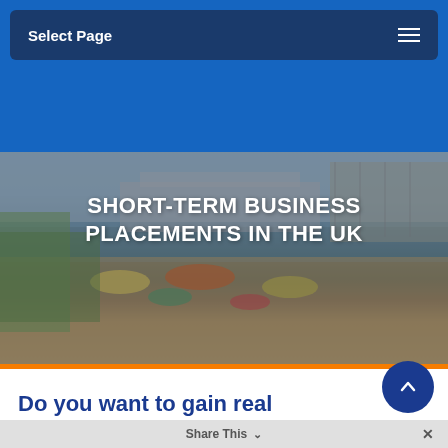Select Page
[Figure (photo): Aerial/elevated photograph of Brighton seafront and pier area, showing a busy beach scene with colourful parasols, a crowd of people, fairground structures, the ornate Brighton Palace Pier extending into the sea, and a blue sky.]
SHORT-TERM BUSINESS PLACEMENTS IN THE UK
Do you want to gain real business experience in the
Share This